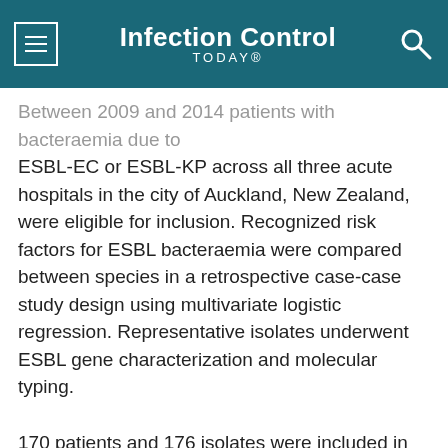Infection Control TODAY®
Between 2009 and 2014 patients with bacteraemia due to ESBL-EC or ESBL-KP across all three acute hospitals in the city of Auckland, New Zealand, were eligible for inclusion. Recognized risk factors for ESBL bacteraemia were compared between species in a retrospective case-case study design using multivariate logistic regression. Representative isolates underwent ESBL gene characterization and molecular typing.

170 patients and 176 isolates were included in the study (92
This website stores data such as cookies to enable essential site functionality, as well as marketing, personalization, and analytics. Cookie Policy
Accept
Deny